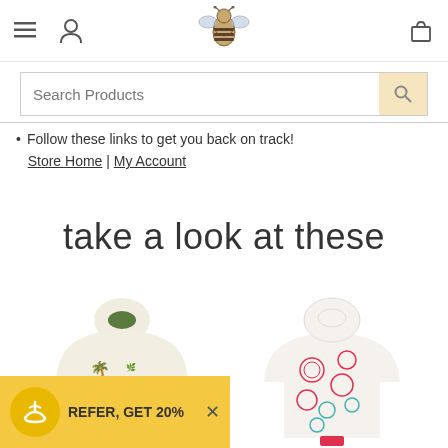Navigation header with menu, account, bee logo, and cart icons
Search Products
Follow these links to get you back on track! Store Home | My Account
take a look at these
[Figure (photo): Children's pajama onesie with tropical palm tree print in green and colorful pattern on white background]
[Figure (photo): Children's pajama onesie with red and teal elephant/animal print pattern on white background]
REFER, GET 20%